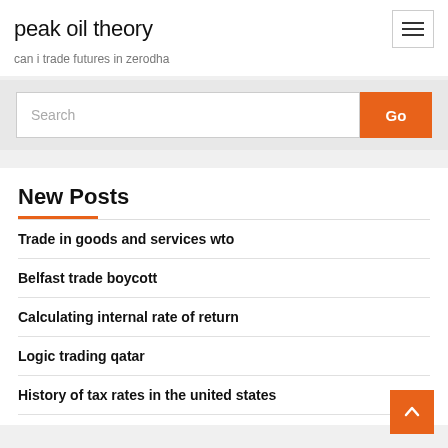peak oil theory
can i trade futures in zerodha
Search
New Posts
Trade in goods and services wto
Belfast trade boycott
Calculating internal rate of return
Logic trading qatar
History of tax rates in the united states